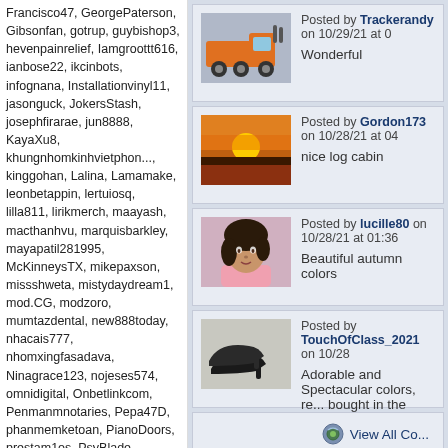Francisco47, GeorgePaterson, Gibsonfan, gotrup, guybishop3, hevenpainrelief, Iamgroottt616, ianbose22, ikcinbots, infognana, Installationvinyl11, jasonguck, JokersStash, josephfirarae, jun8888, KayaXu8, khungnhomkinhvietphon..., kinggohan, Lalina, Lamamake, leonbetappin, lertuiosq, lilla811, lirikmerch, maayash, macthanhvu, marquisbarkley, mayapatil281995, McKinneysTX, mikepaxson, missshweta, mistydaydream1, mod.CG, modzoro, mumtazdental, new888today, nhacais777, nhomxingfasadava, Ninagrace123, nojeses574, omnidigital, Onbetlinkcom, Penmanmnotaries, Pepa47D, phanmemketoan, PianoDoors, prestam1os, PsyBlade, qckntxhitnhed, SabineBrown, SalasloveStore, Samlokiy, sarmsvssteroids, Shakhawat101, Sharktankketogummiesu..., Shonu12aug, socialbacklink1, sonygatla, steverogers9005, susiestravelweb, SwastikPackersinMumba..., taigamekingfunus, texasnurselawyers, theglobalcitysvn24, theparkavenuecity, ThorsenBryan99, tiptopumzug, top10vietnamta, topd026, trainwellnesshike, Tropics777
Posted by Trackerandy on 10/29/21 at 0
Wonderful
Posted by Gordon173 on 10/28/21 at 04
nice log cabin
Posted by lucille80 on 10/28/21 at 01:36
Beautiful autumn colors
Posted by TouchOfClass_2021 on 10/28
Adorable and Spectacular colors, re... bought in the woods 🙂 Love it!
View All Co...